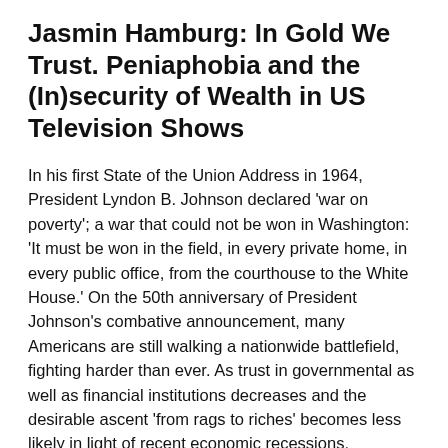Jasmin Hamburg: In Gold We Trust. Peniaphobia and the (In)security of Wealth in US Television Shows
In his first State of the Union Address in 1964, President Lyndon B. Johnson declared 'war on poverty'; a war that could not be won in Washington: 'It must be won in the field, in every private home, in every public office, from the courthouse to the White House.' On the 50th anniversary of President Johnson's combative announcement, many Americans are still walking a nationwide battlefield, fighting harder than ever. As trust in governmental as well as financial institutions decreases and the desirable ascent 'from rags to riches' becomes less likely in light of recent economic recessions, peniaphobia thrives. Studies such as the 2013 Women, Money & Power Study by Allianz Life Insurance Company of North America suggest that many US citizens dread economic downward movement and the concomitant social decline these days. This paper